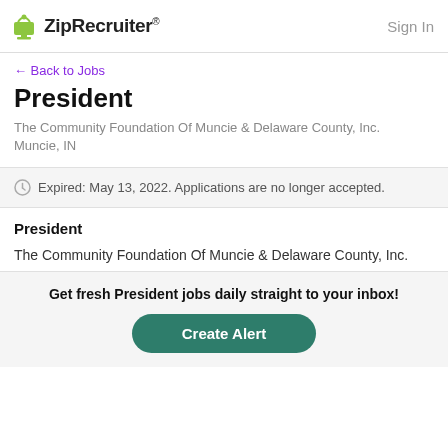ZipRecruiter  Sign In
← Back to Jobs
President
The Community Foundation Of Muncie & Delaware County, Inc.
Muncie, IN
Expired: May 13, 2022. Applications are no longer accepted.
President
The Community Foundation Of Muncie & Delaware County, Inc.
Get fresh President jobs daily straight to your inbox!
Create Alert